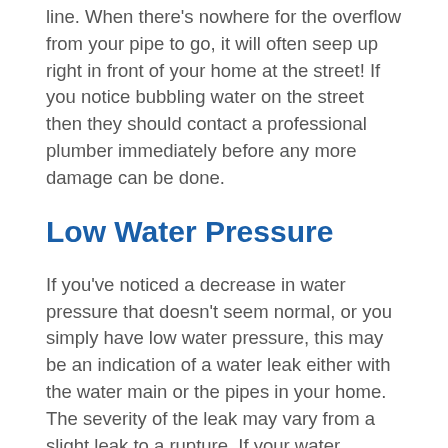line. When there's nowhere for the overflow from your pipe to go, it will often seep up right in front of your home at the street! If you notice bubbling water on the street then they should contact a professional plumber immediately before any more damage can be done.
Low Water Pressure
If you've noticed a decrease in water pressure that doesn't seem normal, or you simply have low water pressure, this may be an indication of a water leak either with the water main or the pipes in your home. The severity of the leak may vary from a slight leak to a rupture. If your water pressure seems low and you suspect a leak, it's a good time to call a professional plumber who has the proper leak detection equipment who can locate a leak and solve your plumbing